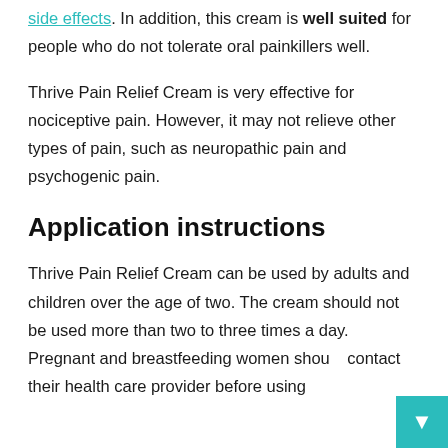side effects. In addition, this cream is well suited for people who do not tolerate oral painkillers well.
Thrive Pain Relief Cream is very effective for nociceptive pain. However, it may not relieve other types of pain, such as neuropathic pain and psychogenic pain.
Application instructions
Thrive Pain Relief Cream can be used by adults and children over the age of two. The cream should not be used more than two to three times a day. Pregnant and breastfeeding women should contact their health care provider before using